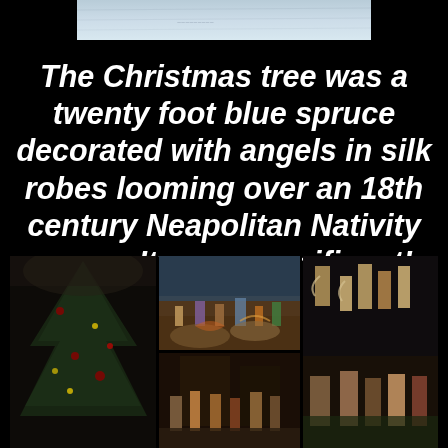[Figure (photo): Faded/washed out photograph at top of page, appears to be an outdoor scene, mostly white/light tones]
The Christmas tree was a twenty foot blue spruce decorated with angels in silk robes looming over an 18th century Neapolitan Nativity scene. It was magnificent!
[Figure (photo): Collage of three photos showing: left - a decorated Christmas tree in a church/museum setting with dark background; center top - colorful Neapolitan nativity scene figurines arranged on rocky terrain; center bottom - more nativity scene figures; right - close-up of nativity scene figurines including angels and figures in dramatic poses]